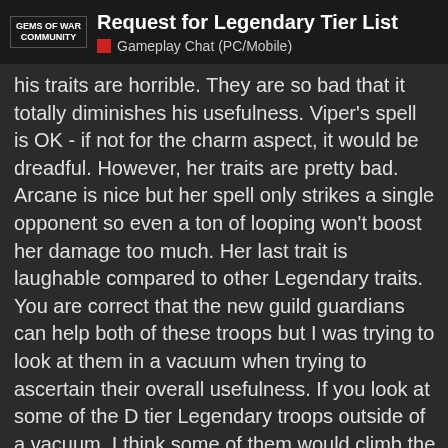Request for Legendary Tier List
Gameplay Chat (PC/Mobile)
his traits are horrible. They are so bad that it totally diminishes his usefulness. Viper's spell is OK - if not for the charm aspect, it would be dreadful. However, her traits are pretty bad. Arcane is nice but her spell only strikes a single opponent so even a ton of looping won't boost her damage too much. Her last trait is laughable compared to other Legendary traits.
You are correct that the new guild guardians can help both of these troops but I was trying to look at them in a vacuum when trying to ascertain their overall usefulness. If you look at some of the D tier Legendary troops outside of a vacuum, I think some of them would climb the ratings a bit. For example, on a gold spamming team, the subpar Gog and Gud can be a real force.
The one troop that is currently D listed that I question is Behemoth. It is not excited about but it's spell doe: